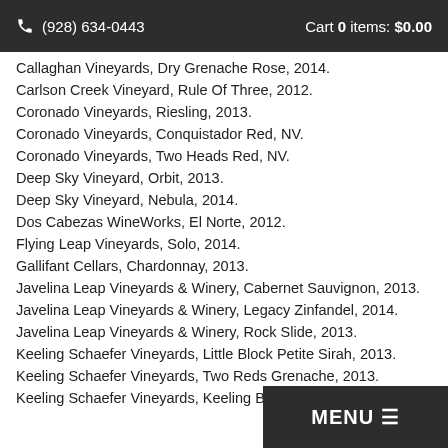(928) 634-0443  Cart 0 items: $0.00
Callaghan Vineyards, Dry Grenache Rose, 2014.
Carlson Creek Vineyard, Rule Of Three, 2012.
Coronado Vineyards, Riesling, 2013.
Coronado Vineyards, Conquistador Red, NV.
Coronado Vineyards, Two Heads Red, NV.
Deep Sky Vineyard, Orbit, 2013.
Deep Sky Vineyard, Nebula, 2014.
Dos Cabezas WineWorks, El Norte, 2012.
Flying Leap Vineyards, Solo, 2014.
Gallifant Cellars, Chardonnay, 2013.
Javelina Leap Vineyards & Winery, Cabernet Sauvignon, 2013.
Javelina Leap Vineyards & Winery, Legacy Zinfandel, 2014.
Javelina Leap Vineyards & Winery, Rock Slide, 2013.
Keeling Schaefer Vineyards, Little Block Petite Sirah, 2013.
Keeling Schaefer Vineyards, Two Reds Grenache, 2013.
Keeling Schaefer Vineyards, Keeling Brothers, 2012.